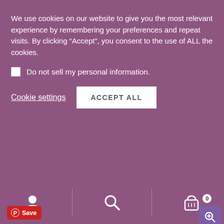We use cookies on our website to give you the most relevant experience by remembering your preferences and repeat visits. By clicking “Accept”, you consent to the use of ALL the cookies.
Do not sell my personal information.
Cookie settings
ACCEPT ALL
[Figure (screenshot): Product image showing decorative text: Made With Love By Your Name/Business Facebook: with Pinterest Save button and zoom icon overlay]
[Figure (infographic): Bottom navigation bar with user icon, search icon, and shopping cart icon with badge showing 0]